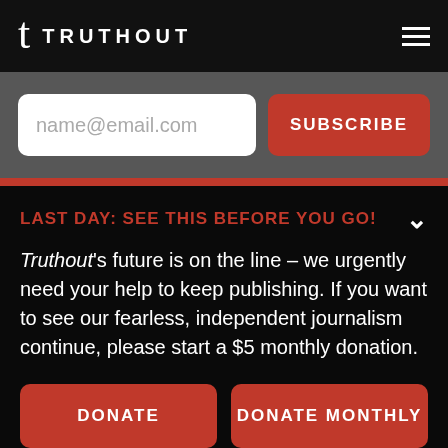TRUTHOUT
name@email.com
SUBSCRIBE
LAST DAY: SEE THIS BEFORE YOU GO!
Truthout's future is on the line – we urgently need your help to keep publishing. If you want to see our fearless, independent journalism continue, please start a $5 monthly donation.
DONATE
DONATE MONTHLY